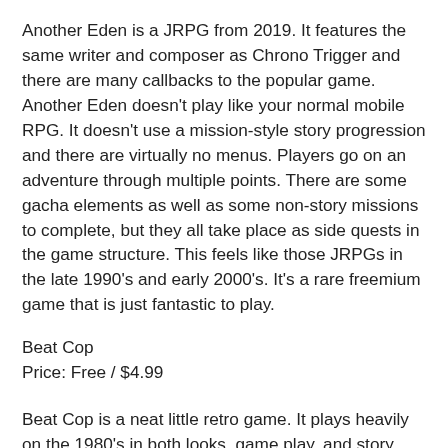Another Eden is a JRPG from 2019. It features the same writer and composer as Chrono Trigger and there are many callbacks to the popular game. Another Eden doesn't play like your normal mobile RPG. It doesn't use a mission-style story progression and there are virtually no menus. Players go on an adventure through multiple points. There are some gacha elements as well as some non-story missions to complete, but they all take place as side quests in the game structure. This feels like those JRPGs in the late 1990's and early 2000's. It's a rare freemium game that is just fantastic to play.
Beat Cop
Price: Free / $4.99
Beat Cop is a neat little retro game. It plays heavily on the 1980's in both looks, game play, and story. You play as a former detective. The detective was accused of murder and now must make his bones as a beat cop. You